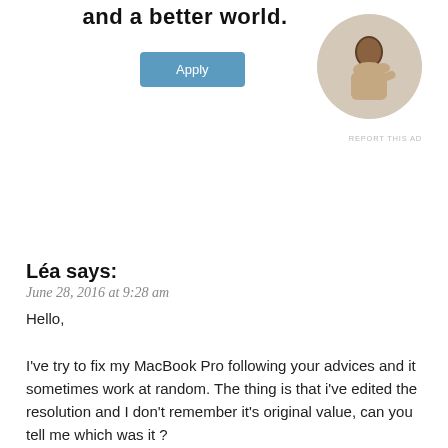[Figure (other): Advertisement banner with headline 'and a better world.', an Apply button, and a circular photo of a man thinking at a desk]
REPORT THIS AD
Léa says:
June 28, 2016 at 9:28 am
Hello,

I've try to fix my MacBook Pro following your advices and it sometimes work at random. The thing is that i've edited the resolution and I don't remember it's original value, can you tell me which was it ?
Thank you for your tuto, it was very helpful!
★ Like
👍 0 👎 0 ℹ Rate This